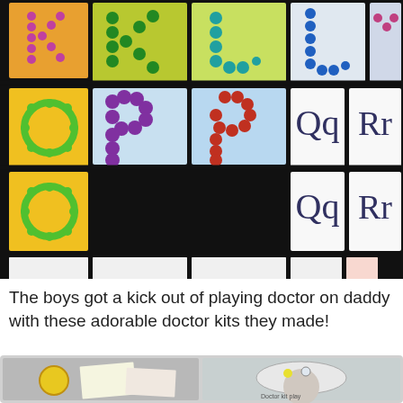[Figure (photo): Collage of alphabet letter art projects made by children — rows of colorful dot-painted and drawn letters on paper cards arranged on a dark wooden surface. Letters visible include K, K, L, L, M, O, P, Q, R, U, V, W and others decorated with dots, patterns, and drawings.]
The boys got a kick out of playing doctor on daddy with these adorable doctor kits they made!
[Figure (photo): Two photos side by side: left shows homemade doctor kit items including a yellow stethoscope and medical-themed papers; right shows a child wearing a homemade doctor hat made from paper with decorations.]